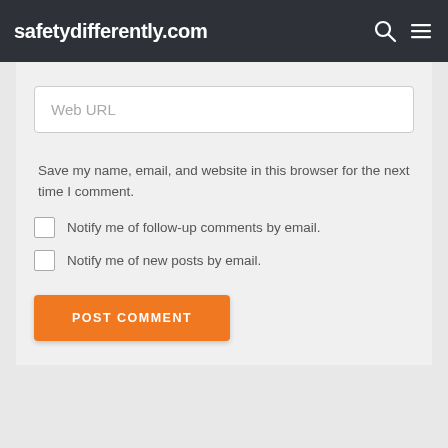safetydifferently.com
Web URL
Save my name, email, and website in this browser for the next time I comment.
Notify me of follow-up comments by email.
Notify me of new posts by email.
POST COMMENT